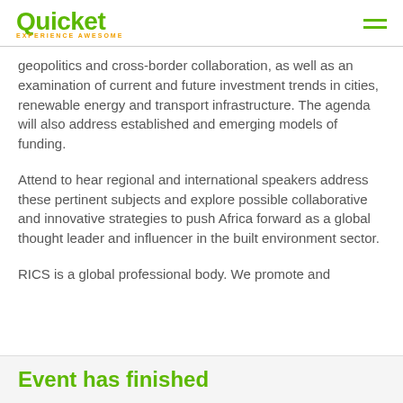Quicket — EXPERIENCE AWESOME
geopolitics and cross-border collaboration, as well as an examination of current and future investment trends in cities, renewable energy and transport infrastructure. The agenda will also address established and emerging models of funding.
Attend to hear regional and international speakers address these pertinent subjects and explore possible collaborative and innovative strategies to push Africa forward as a global thought leader and influencer in the built environment sector.
RICS is a global professional body. We promote and
Event has finished